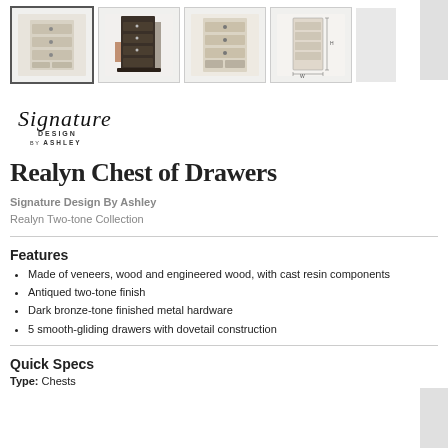[Figure (photo): Four thumbnail images of the Realyn Chest of Drawers from different angles; first thumbnail is highlighted/active with a border]
[Figure (logo): Signature Design by Ashley logo with script Signature text above DESIGN BY ASHLEY in small caps]
Realyn Chest of Drawers
Signature Design By Ashley
Realyn Two-tone Collection
Features
Made of veneers, wood and engineered wood, with cast resin components
Antiqued two-tone finish
Dark bronze-tone finished metal hardware
5 smooth-gliding drawers with dovetail construction
Quick Specs
Type: Chests